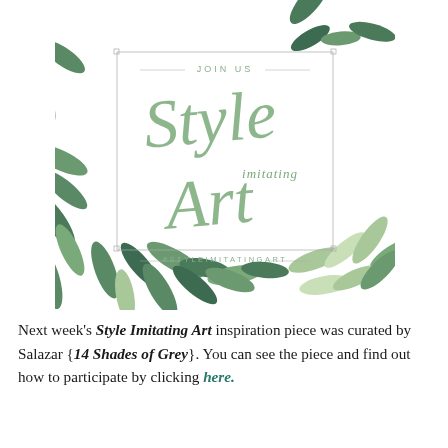[Figure (illustration): Square invitation graphic with watercolor botanical leaf border (green leaves). Center text reads 'JOIN US' at top, then large script 'Style' and 'Art' with smaller 'imitating' in between, and '#STYLEIMITATINGART' at bottom inside a thin rectangular border.]
Next week's Style Imitating Art inspiration piece was curated by Salazar {14 Shades of Grey}. You can see the piece and find out how to participate by clicking here.